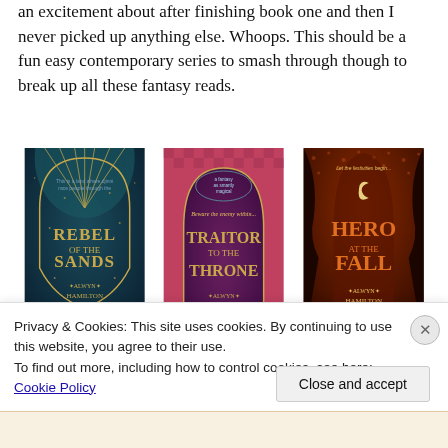an excitement about after finishing book one and then I never picked up anything else. Whoops. This should be a fun easy contemporary series to smash through though to break up all these fantasy reads.
[Figure (photo): Three book covers side by side: 'Rebel of the Sands' by Alwyn Hamilton (teal/gold art deco design), 'Traitor to the Throne' by Alwyn Hamilton (maroon/purple with geometric patterns), and 'Hero at the Fall' by Alwyn Hamilton (dark red/orange with flame motifs)]
Privacy & Cookies: This site uses cookies. By continuing to use this website, you agree to their use.
To find out more, including how to control cookies, see here: Cookie Policy
Close and accept